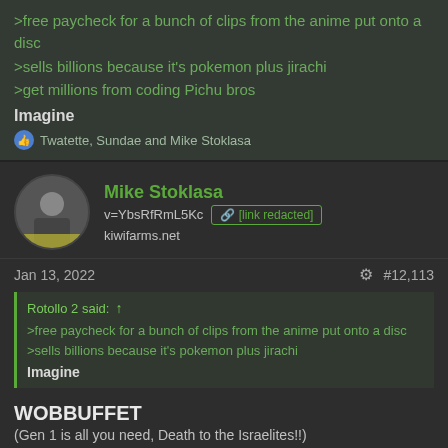>free paycheck for a bunch of clips from the anime put onto a disc
>sells billions because it's pokemon plus jirachi
>get millions from coding Pichu bros
Imagine
👍 Twatette, Sundae and Mike Stoklasa
Mike Stoklasa
v=YbsRfRmL5Kc  [link redacted]  kiwifarms.net
Jan 13, 2022   #12,113
Rotollo 2 said: ↑
>free paycheck for a bunch of clips from the anime put onto a disc
>sells billions because it's pokemon plus jirachi
Imagine
WOBBUFFET
(Gen 1 is all you need, Death to the Israelites!!)